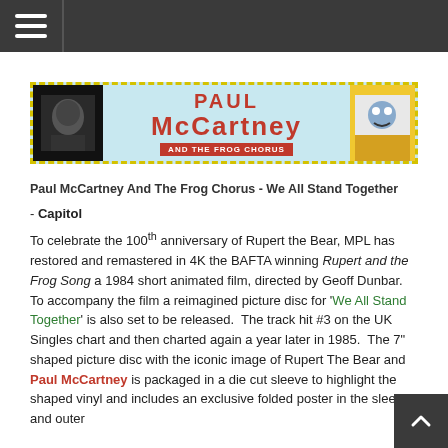Navigation bar with hamburger menu
[Figure (illustration): Paul McCartney And The Frog Chorus banner image with dashed yellow border on light blue background, showing Paul McCartney photo on left and cartoon illustration on right, with red text 'PAUL McCARTNEY AND THE FROG CHORUS' in center]
Paul McCartney And The Frog Chorus - We All Stand Together
- Capitol
To celebrate the 100th anniversary of Rupert the Bear, MPL has restored and remastered in 4K the BAFTA winning Rupert and the Frog Song a 1984 short animated film, directed by Geoff Dunbar. To accompany the film a reimagined picture disc for 'We All Stand Together' is also set to be released. The track hit #3 on the UK Singles chart and then charted again a year later in 1985. The 7" shaped picture disc with the iconic image of Rupert The Bear and Paul McCartney is packaged in a die cut sleeve to highlight the shaped vinyl and includes an exclusive folded poster in the sleeve and outer